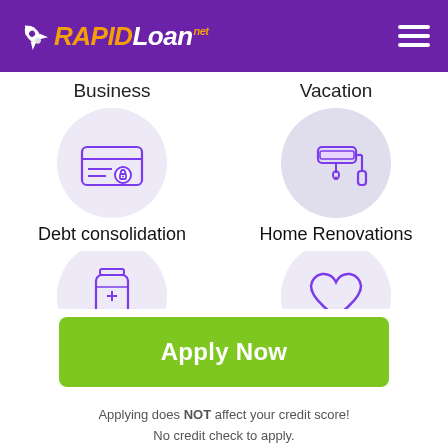[Figure (logo): RapidLoan.net logo with rocket icon on purple header bar]
Business
Vacation
[Figure (illustration): Credit card with lock icon in lavender circle]
[Figure (illustration): Paint roller icon in gray circle]
Debt consolidation
Home Renovations
[Figure (illustration): Medicine bottle icon partially visible in lavender circle]
[Figure (illustration): Heart/love icon partially visible in lavender circle]
Apply Now
Applying does NOT affect your credit score!
No credit check to apply.